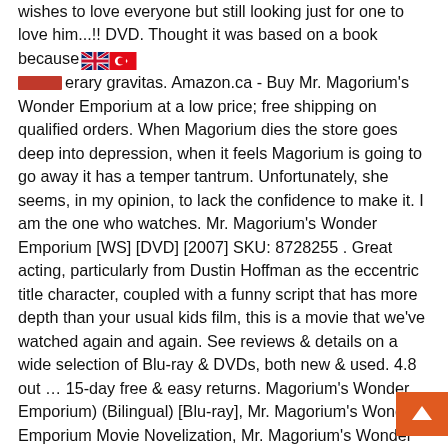wishes to love everyone but still looking just for one to love him...!! DVD. Thought it was based on a book because the literary gravitas. Amazon.ca - Buy Mr. Magorium's Wonder Emporium at a low price; free shipping on qualified orders. When Magorium dies the store goes deep into depression, when it feels Magorium is going to go away it has a temper tantrum. Unfortunately, she seems, in my opinion, to lack the confidence to make it. I am the one who watches. Mr. Magorium's Wonder Emporium [WS] [DVD] [2007] SKU: 8728255 . Great acting, particularly from Dustin Hoffman as the eccentric title character, coupled with a funny script that has more depth than your usual kids film, this is a movie that we've watched again and again. See reviews & details on a wide selection of Blu-ray & DVDs, both new & used. 4.8 out … 15-day free & easy returns. Magorium's Wonder Emporium) (Bilingual) [Blu-ray], Mr. Magorium's Wonder Emporium Movie Novelization, Mr. Magorium's Wonder Emporium LEGO Creator Big Book, MR MAGORIUMS WONDER EMPORIUM: A LITTLE MAGIC, Mr. Magorium's Wonder Emporium - Authentic Original 27" x 40" Movie Poster, MR MAGORIUM'S WONDER EMPORIUM: MAGICAL MOVIE STORYBOOK, MR MAGORIUM'S WONDER EMPORIUM: MAHONEY'S MAGIC, Mr. Magorium's Wonder
[Figure (illustration): UK and Turkish flag emoji icons displayed inline in text]
[Figure (illustration): Orange scroll-to-top button with upward arrow in bottom right corner]